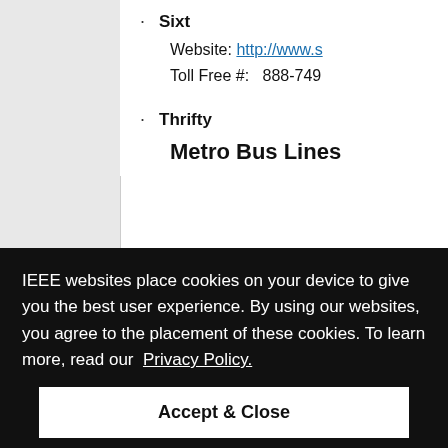· Sixt
Website: http://www.s...
Toll Free #: 888-749...
· Thrifty
Metro Bus Lines
es join ... estbou... all in n... pp at th...
has sto...
[Figure (screenshot): IEEE cookie consent overlay on a dark background reading: 'IEEE websites place cookies on your device to give you the best user experience. By using our websites, you agree to the placement of these cookies. To learn more, read our Privacy Policy.' with an 'Accept & Close' button.]
Eastbound buses sto...